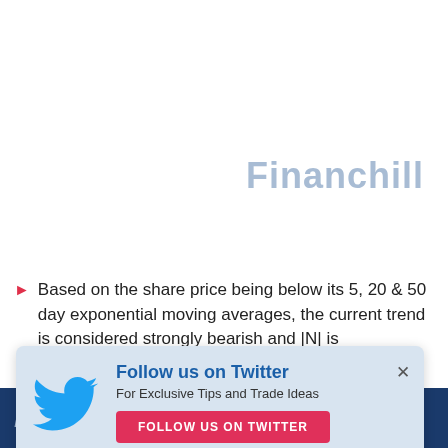[Figure (logo): Financhill watermark logo in light blue/gray]
Based on the share price being below its 5, 20 & 50 day exponential moving averages, the current trend is considered strongly bearish and |N| is experiencing ... for
[Figure (infographic): Twitter follow popup overlay with bird logo, 'Follow us on Twitter' heading, 'For Exclusive Tips and Trade Ideas' subtext, and 'FOLLOW US ON TWITTER' pink button]
Financhill